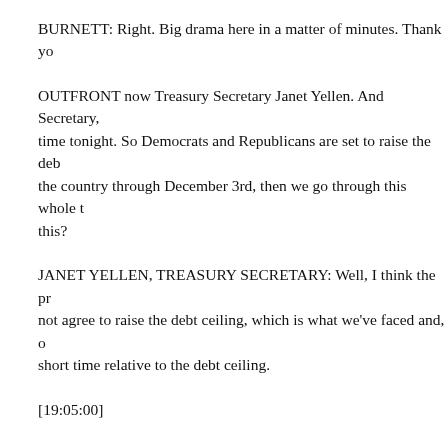BURNETT: Right. Big drama here in a matter of minutes. Thank yo
OUTFRONT now Treasury Secretary Janet Yellen. And Secretary, time tonight. So Democrats and Republicans are set to raise the deb the country through December 3rd, then we go through this whole t this?
JANET YELLEN, TREASURY SECRETARY: Well, I think the pr not agree to raise the debt ceiling, which is what we've faced and, o short time relative to the debt ceiling.
[19:05:00]
So the uncertainty remains longer term. I think it is damaging to co investors, of course, everyone including me breathed a sigh of relie an agreement that gets us to December 3rd. We were staring at Octo